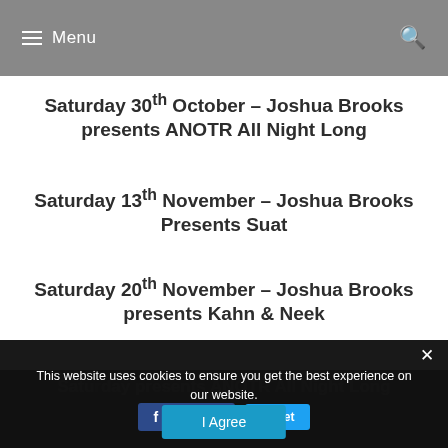Menu
Saturday 30th October – Joshua Brooks presents ANOTR All Night Long
Saturday 13th November – Joshua Brooks Presents Suat
Saturday 20th November – Joshua Brooks presents Kahn & Neek
Saturday 27th November – Joshua Brooks presents ANOTR All Night Long
This website uses cookies to ensure you get the best experience on our website.
Privacy Preferences
I Agree